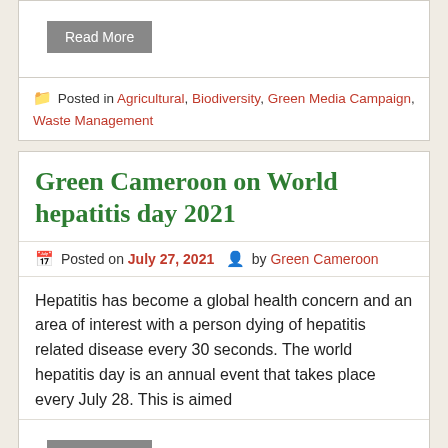Read More
Posted in Agricultural, Biodiversity, Green Media Campaign, Waste Management
Green Cameroon on World hepatitis day 2021
Posted on July 27, 2021  by Green Cameroon
Hepatitis has become a global health concern and an area of interest with a person dying of hepatitis related disease every 30 seconds. The world hepatitis day is an annual event that takes place every July 28. This is aimed
Read More
Posted in Uncategorized